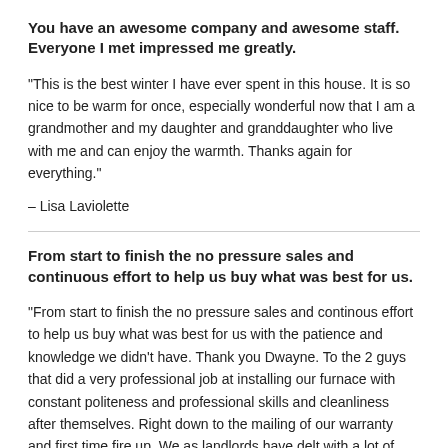You have an awesome company and awesome staff. Everyone I met impressed me greatly.
"This is the best winter I have ever spent in this house. It is so nice to be warm for once, especially wonderful now that I am a grandmother and my daughter and granddaughter who live with me and can enjoy the warmth. Thanks again for everything."
– Lisa Laviolette
From start to finish the no pressure sales and continuous effort to help us buy what was best for us.
"From start to finish the no pressure sales and continous effort to help us buy what was best for us with the patience and knowledge we didn't have. Thank you Dwayne. To the 2 guys that did a very professional job at installing our furnace with constant politeness and professional skills and cleanliness after themselves. Right down to the mailing of our warranty and first time fire up. We as landlords have delt with a lot of companies in the past 15 years and we have to say THANK YOU! For your honesty, excellent service and